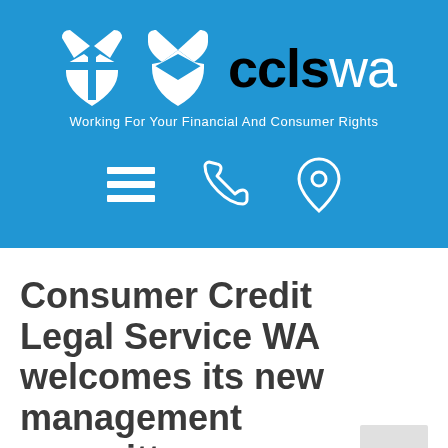[Figure (logo): CCLS WA logo — a white four-pointed shield/cross emblem on blue, with text 'ccls' in black and 'wa' in white, and tagline 'Working For Your Financial And Consumer Rights' in white. Below the logo are three navigation icons: a hamburger menu, a phone, and a location pin, all in white on blue background.]
Consumer Credit Legal Service WA welcomes its new management committee